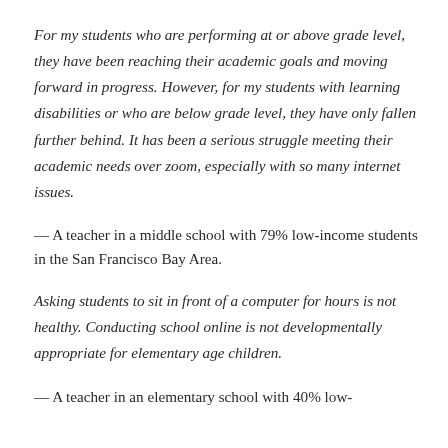For my students who are performing at or above grade level, they have been reaching their academic goals and moving forward in progress. However, for my students with learning disabilities or who are below grade level, they have only fallen further behind. It has been a serious struggle meeting their academic needs over zoom, especially with so many internet issues.
— A teacher in a middle school with 79% low-income students in the San Francisco Bay Area.
Asking students to sit in front of a computer for hours is not healthy. Conducting school online is not developmentally appropriate for elementary age children.
— A teacher in an elementary school with 40% low-